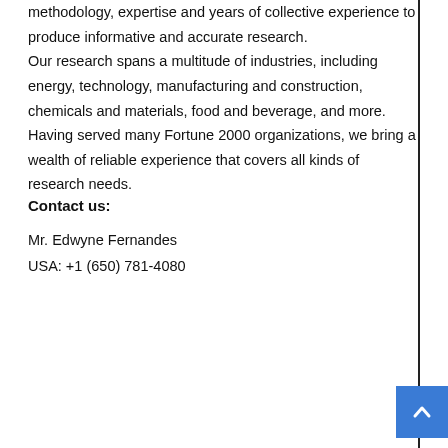methodology, expertise and years of collective experience to produce informative and accurate research.
Our research spans a multitude of industries, including energy, technology, manufacturing and construction, chemicals and materials, food and beverage, and more. Having served many Fortune 2000 organizations, we bring a wealth of reliable experience that covers all kinds of research needs.
Contact us:
Mr. Edwyne Fernandes
USA: +1 (650) 781-4080